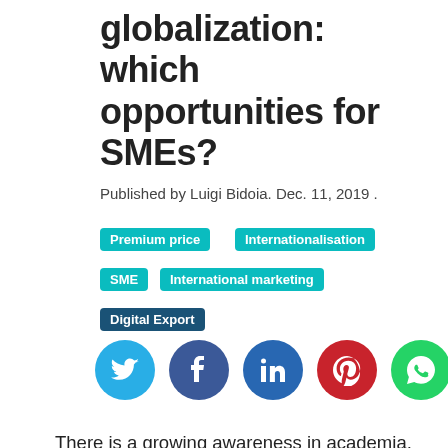globalization: which opportunities for SMEs?
Published by Luigi Bidoia. Dec. 11, 2019 .
Premium price
Internationalisation
SME
International marketing
Digital Export
[Figure (infographic): Five social media share buttons: Twitter (light blue circle), Facebook (dark blue circle), LinkedIn (blue circle), Pinterest (red circle), WhatsApp (green circle)]
There is a growing awareness in academia, business and politics that the current phase of economic development is characterized by a revolution in the organization of markets and